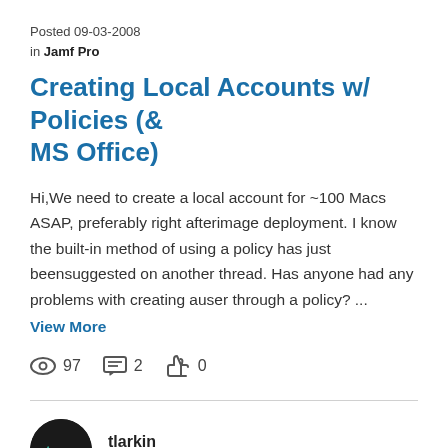Posted 09-03-2008 in Jamf Pro
Creating Local Accounts w/ Policies (& MS Office)
Hi,We need to create a local account for ~100 Macs ASAP, preferably right afterimage deployment. I know the built-in method of using a policy has just beensuggested on another thread. Has anyone had any problems with creating auser through a policy? ...
View More
👁 97   💬 2   👍 0
tlarkin
Honored Contributor